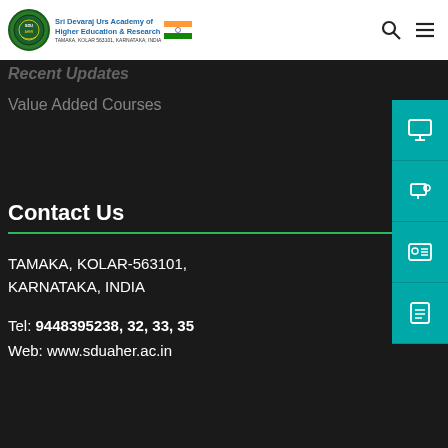Sri Devaraj Urs Academy of Higher Education & Research — TAMAKA, KOLAR 563101, KARNATAKA, INDIA
Recent Updates
Value Added Courses
Contact Us
TAMAKA, KOLAR-563101, KARNATAKA, INDIA
Tel: 9448395238, 32, 33, 35
Web: www.sduaher.ac.in